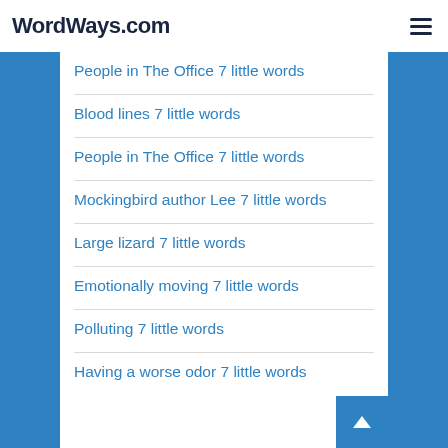WordWays.com
People in The Office 7 little words
Blood lines 7 little words
People in The Office 7 little words
Mockingbird author Lee 7 little words
Large lizard 7 little words
Emotionally moving 7 little words
Polluting 7 little words
Having a worse odor 7 little words